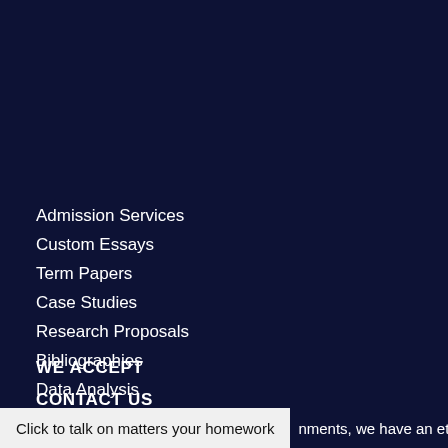Admission Services
Custom Essays
Term Papers
Case Studies
Research Proposals
Bibliographies
Data Analysis
Coursework Help
WE ACCEPT
CONTACT US
Click to talk on matters your homework
nments, we have an ethical